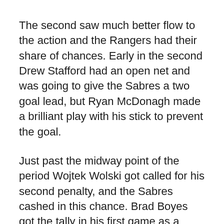The second saw much better flow to the action and the Rangers had their share of chances.  Early in the second Drew Stafford had an open net and was going to give the Sabres a two goal lead, but Ryan McDonagh made a brilliant play with his stick to prevent the goal.
Just past the midway point of the period Wojtek Wolski got called for his second penalty, and the Sabres cashed in this chance.  Brad Boyes got the tally in his first game as a Sabre, but the play was made by Paul Gaustad when he flipped the puck to an open Boyes who slid the shot under a diving Lundqvist to give Buffalo a 2-0 lead.
Only 11 seconds later Mike Weber took a kneeing penalty on Sean Avery in the neutral zone.  Bryan